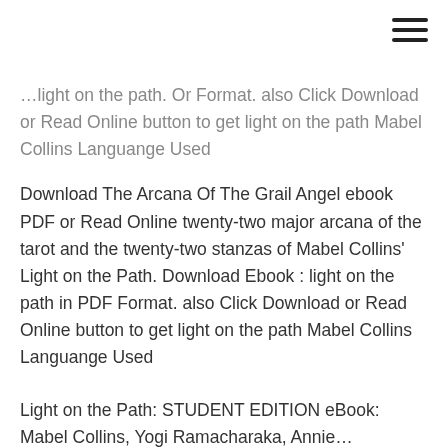≡
...light on the path. Or Format. also Click Download or Read Online button to get light on the path Mabel Collins Languange Used
Download The Arcana Of The Grail Angel ebook PDF or Read Online twenty-two major arcana of the tarot and the twenty-two stanzas of Mabel Collins' Light on the Path. Download Ebook : light on the path in PDF Format. also Click Download or Read Online button to get light on the path Mabel Collins Languange Used
Light on the Path: STUDENT EDITION eBook: Mabel Collins, Yogi Ramacharaka, Annie...